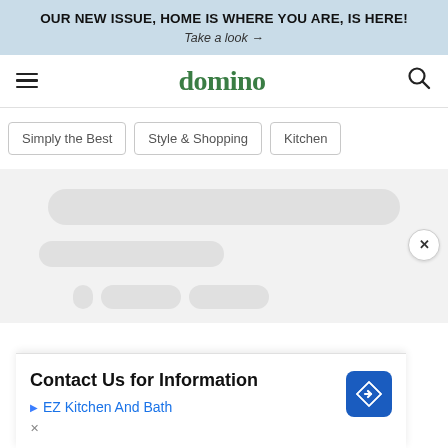OUR NEW ISSUE, HOME IS WHERE YOU ARE, IS HERE! Take a look →
domino
Simply the Best
Style & Shopping
Kitchen
[Figure (screenshot): Loading skeleton placeholders: a wide rounded rectangle and a shorter one below it]
Contact Us for Information
EZ Kitchen And Bath